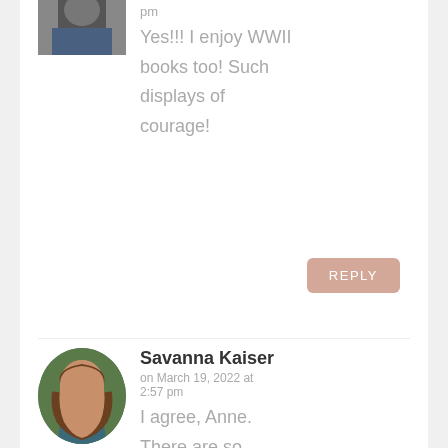[Figure (photo): Partial avatar photo of a person at the top, showing shoulders in denim jacket]
pm
Yes!!! I enjoy WWII books too! Such displays of courage!
REPLY
[Figure (photo): Avatar photo of Savanna Kaiser, a woman with long brown hair smiling, wearing teal top, outdoors]
Savanna Kaiser
on March 19, 2022 at 2:57 pm
I agree, Anne. There are so many stories to learn from that